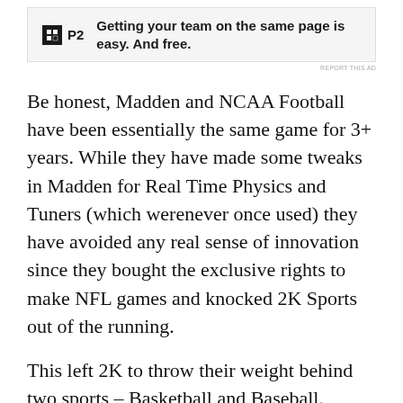[Figure (other): Advertisement banner for P2 with icon and text: Getting your team on the same page is easy. And free.]
REPORT THIS AD
Be honest, Madden and NCAA Football have been essentially the same game for 3+ years. While they have made some tweaks in Madden for Real Time Physics and Tuners (which werenever once used) they have avoided any real sense of innovation since they bought the exclusive rights to make NFL games and knocked 2K Sports out of the running.
This left 2K to throw their weight behind two sports – Basketball and Baseball.
2K's basketball is perhaps only rivaled by MLB